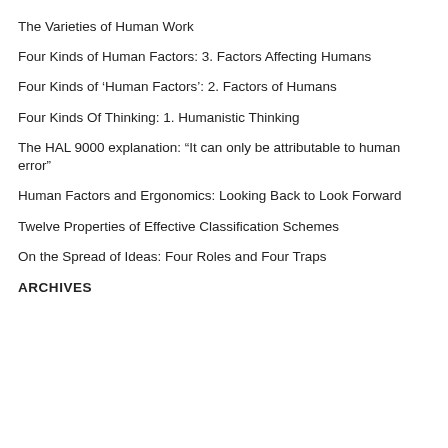The Varieties of Human Work
Four Kinds of Human Factors: 3. Factors Affecting Humans
Four Kinds of ‘Human Factors’: 2. Factors of Humans
Four Kinds Of Thinking: 1. Humanistic Thinking
The HAL 9000 explanation: "It can only be attributable to human error"
Human Factors and Ergonomics: Looking Back to Look Forward
Twelve Properties of Effective Classification Schemes
On the Spread of Ideas: Four Roles and Four Traps
ARCHIVES